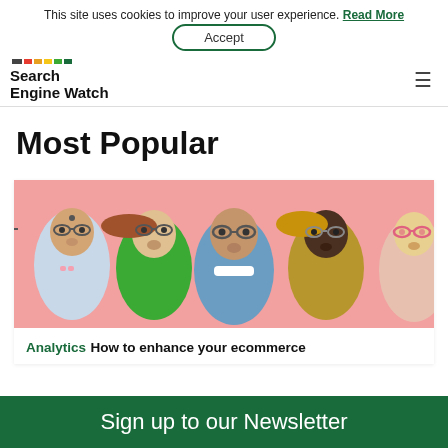This site uses cookies to improve your user experience. Read More
Accept
[Figure (logo): Search Engine Watch logo with colored stripe and bold text]
Most Popular
[Figure (photo): Five people with surprised expressions on pink background]
Analytics How to enhance your ecommerce
Sign up to our Newsletter